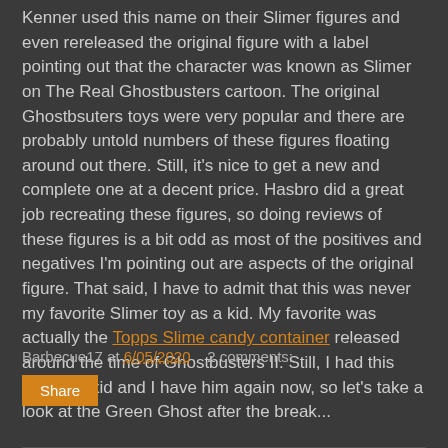Kenner used this name on their Slimer figures and even rereleased the original figure with a label pointing out that the character was known as Slimer on The Real Ghostbusters cartoon. The original Ghostbsuters toys were very popular and there are probably untold numbers of these figures floating around out there. Still, it's nice to get a new and complete one at a decent price. Hasbro did a great job recreating these figures, so doing reviews of these figures is a bit odd as most of the positives and negatives I'm pointing out are aspects of the original figure. That said, I have to admit that this was never my favorite Slimer toy as a kid. My favorite was actually the Topps Slime candy container released around the time of Ghostbusters II. Still, I had this guy as a kid and I have him again now, so let's take a look at the Green Ghost after the break...
Barbecue17 at 6/05/2020   2 comments:
Share